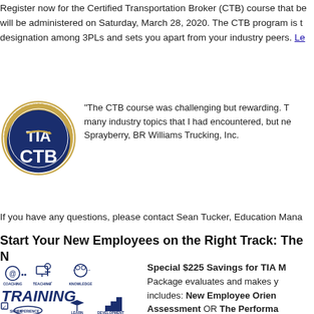Register now for the Certified Transportation Broker (CTB) course that be will be administered on Saturday, March 28, 2020. The CTB program is t designation among 3PLs and sets you apart from your industry peers. Le
[Figure (logo): TIA Certified Transportation Broker (CTB) circular logo in navy blue and gold]
"The CTB course was challenging but rewarding. T many industry topics that I had encountered, but ne Sprayberry, BR Williams Trucking, Inc.
If you have any questions, please contact Sean Tucker, Education Mana
Start Your New Employees on the Right Track: The N
[Figure (illustration): Hand-drawn style illustration showing training concepts: Coaching, Teaching, Knowledge, Skills, Experience, Learn, Development, with TRAINING in large text]
Special $225 Savings for TIA M Package evaluates and makes y includes: New Employee Orien Assessment OR The Performa you ready to stand out? Start yo and demonstrate your company